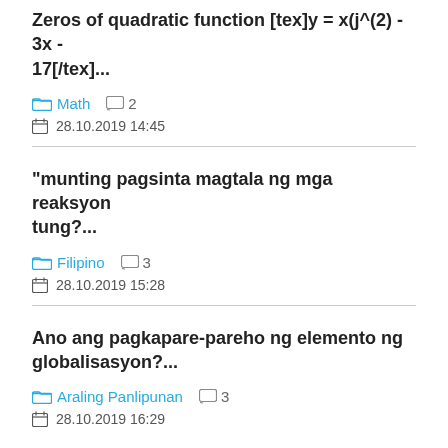Zeros of quadratic function [tex]y = x(j^(2) - 3x - 17[/tex]...
Math  2
28.10.2019 14:45
"munting pagsinta magtala ng mga reaksyon tung?...
Filipino  3
28.10.2019 15:28
Ano ang pagkapare-pareho ng elemento ng globalisasyon?...
Araling Panlipunan  3
28.10.2019 16:29